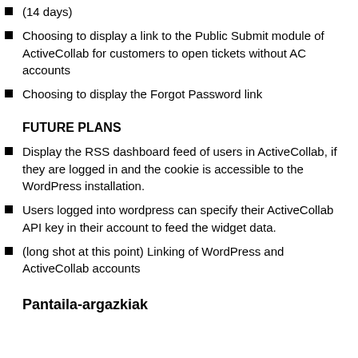(14 days)
Choosing to display a link to the Public Submit module of ActiveCollab for customers to open tickets without AC accounts
Choosing to display the Forgot Password link
FUTURE PLANS
Display the RSS dashboard feed of users in ActiveCollab, if they are logged in and the cookie is accessible to the WordPress installation.
Users logged into wordpress can specify their ActiveCollab API key in their account to feed the widget data.
(long shot at this point) Linking of WordPress and ActiveCollab accounts
Pantaila-argazkiak